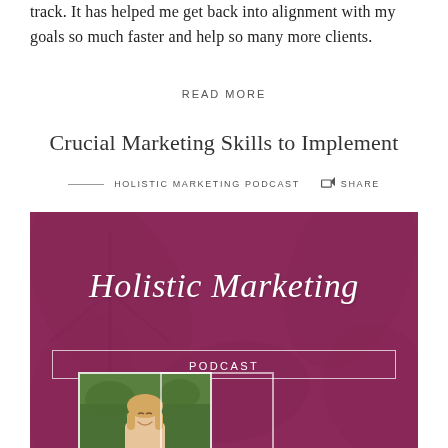track. It has helped me get back into alignment with my goals so much faster and help so many more clients.
READ MORE
Crucial Marketing Skills to Implement
HOLISTIC MARKETING PODCAST   SHARE
[Figure (photo): Holistic Marketing Podcast cover image with script text 'Holistic Marketing' in white on a dark purple/mauve background with leaf motifs, 'PODCAST' label in a box, and a photo of a blonde woman smiling in an outdoor setting.]